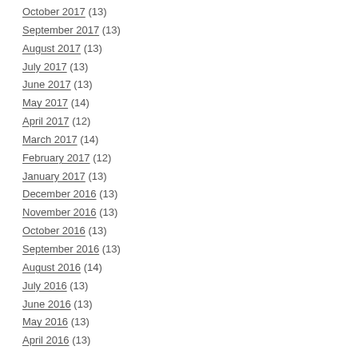October 2017 (13)
September 2017 (13)
August 2017 (13)
July 2017 (13)
June 2017 (13)
May 2017 (14)
April 2017 (12)
March 2017 (14)
February 2017 (12)
January 2017 (13)
December 2016 (13)
November 2016 (13)
October 2016 (13)
September 2016 (13)
August 2016 (14)
July 2016 (13)
June 2016 (13)
May 2016 (13)
April 2016 (13)